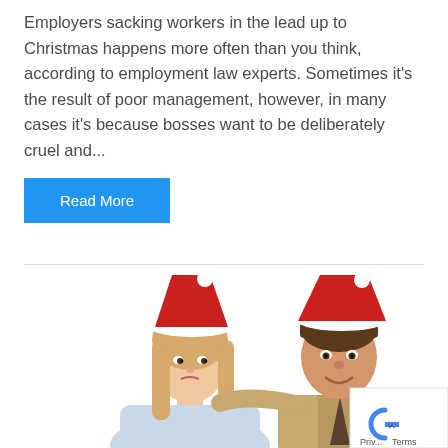Employers sacking workers in the lead up to Christmas happens more often than you think, according to employment law experts. Sometimes it's the result of poor management, however, in many cases it's because bosses want to be deliberately cruel and...
Read More
[Figure (photo): Two people wearing Santa hats - a woman with long blonde hair looking sideways with an uneasy expression, and a man smiling with his arm around her shoulder, both in a Christmas party setting]